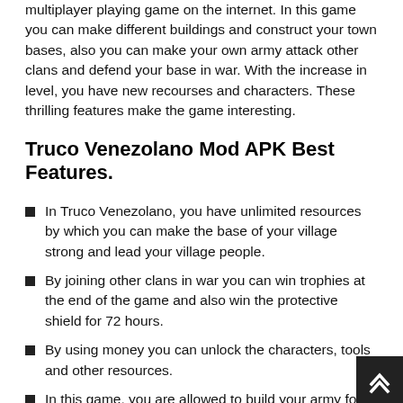multiplayer playing game on the internet. In this game you can make different buildings and construct your town bases, also you can make your own army attack other clans and defend your base in war. With the increase in level, you have new recourses and characters. These thrilling features make the game interesting.
Truco Venezolano Mod APK Best Features.
In Truco Venezolano, you have unlimited resources by which you can make the base of your village strong and lead your village people.
By joining other clans in war you can win trophies at the end of the game and also win the protective shield for 72 hours.
By using money you can unlock the characters, tools and other resources.
In this game, you are allowed to build your army for attacking other Truco Venezolano.
Their visual quality is also so good. You can enjoy both the game and spectacular visual at a time.
Mod comes with various upgrade levels that allow you